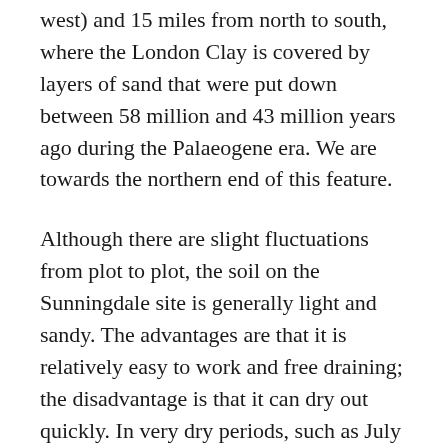west) and 15 miles from north to south, where the London Clay is covered by layers of sand that were put down between 58 million and 43 million years ago during the Palaeogene era. We are towards the northern end of this feature.
Although there are slight fluctuations from plot to plot, the soil on the Sunningdale site is generally light and sandy. The advantages are that it is relatively easy to work and free draining; the disadvantage is that it can dry out quickly. In very dry periods, such as July 2006, the soil becomes very fine and it can take a reasonable amount of rain to “re-hydrate” it. The soil tends to be marginally on the acidic